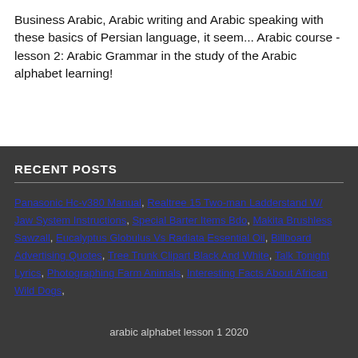Business Arabic, Arabic writing and Arabic speaking with these basics of Persian language, it seem... Arabic course - lesson 2: Arabic Grammar in the study of the Arabic alphabet learning!
RECENT POSTS
Panasonic Hc-v380 Manual, Realtree 15 Two-man Ladderstand W/ Jaw System Instructions, Special Barter Items Bdo, Makita Brushless Sawzall, Eucalyptus Globulus Vs Radiata Essential Oil, Billboard Advertising Quotes, Tree Trunk Clipart Black And White, Talk Tonight Lyrics, Photographing Farm Animals, Interesting Facts About African Wild Dogs,
arabic alphabet lesson 1 2020